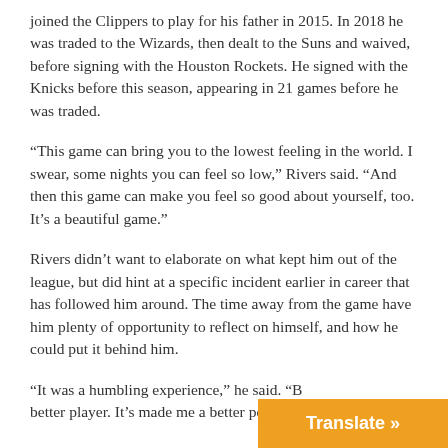joined the Clippers to play for his father in 2015. In 2018 he was traded to the Wizards, then dealt to the Suns and waived, before signing with the Houston Rockets. He signed with the Knicks before this season, appearing in 21 games before he was traded.
“This game can bring you to the lowest feeling in the world. I swear, some nights you can feel so low,” Rivers said. “And then this game can make you feel so good about yourself, too. It’s a beautiful game.”
Rivers didn’t want to elaborate on what kept him out of the league, but did hint at a specific incident earlier in career that has followed him around. The time away from the game have him plenty of opportunity to reflect on himself, and how he could put it behind him.
“It was a humbling experience,” he said. “B… better player. It’s made me a better person…